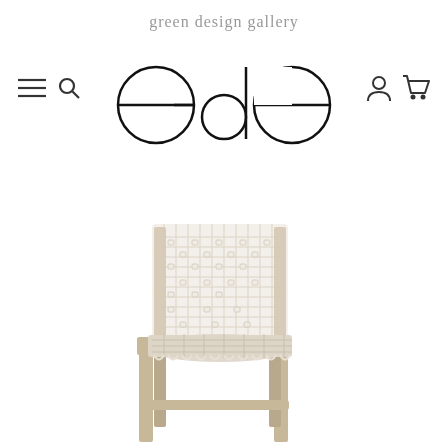[Figure (logo): Green Design Gallery logo with text 'green design gallery' above three geometric circle/arc shapes forming 'GdG']
[Figure (photo): A bar stool with a woven macrame white rope back and seat on a light wood teak frame, against a white background]